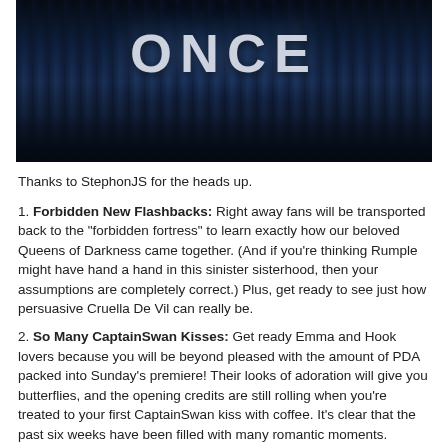[Figure (photo): Dark blue-toned promotional image for 'Once Upon a Time' TV show with forest silhouette and the word ONCE in large white letters at top]
Thanks to StephonJS for the heads up.
1. Forbidden New Flashbacks: Right away fans will be transported back to the "forbidden fortress" to learn exactly how our beloved Queens of Darkness came together. (And if you're thinking Rumple might have hand a hand in this sinister sisterhood, then your assumptions are completely correct.) Plus, get ready to see just how persuasive Cruella De Vil can really be.
2. So Many CaptainSwan Kisses: Get ready Emma and Hook lovers because you will be beyond pleased with the amount of PDA packed into Sunday's premiere! Their looks of adoration will give you butterflies, and the opening credits are still rolling when you're treated to your first CaptainSwan kiss with coffee. It's clear that the past six weeks have been filled with many romantic moments.